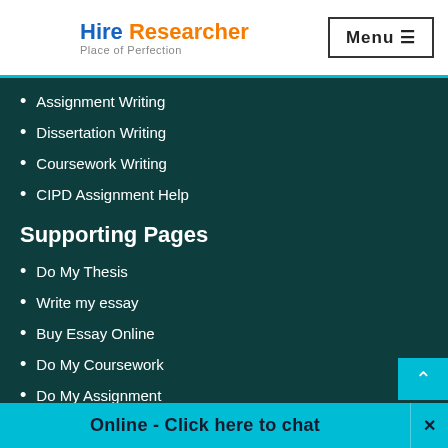[Figure (logo): Hire Researcher logo with circular HR icon in blue and orange, tagline 'Place of Perfection']
Assignment Writing
Dissertation Writing
Coursework Writing
CIPD Assignment Help
Supporting Pages
Do My Thesis
Write my essay
Buy Essay Online
Do My Coursework
Do My Assignment
Do My Dissertation
Buy Thesis Online
Buy Assignment Online
Buy Coursework Online
Buy Coursework Online
Online - Click here to chat